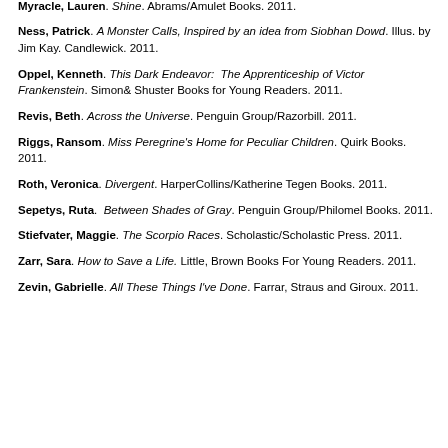Moyn, Marissa. Simon& Macmillan/Universal and Friends. 2012.
Myracle, Lauren. Shine. Abrams/Amulet Books. 2011.
Ness, Patrick. A Monster Calls, Inspired by an idea from Siobhan Dowd. Illus. by Jim Kay. Candlewick. 2011.
Oppel, Kenneth. This Dark Endeavor: The Apprenticeship of Victor Frankenstein. Simon& Shuster Books for Young Readers. 2011.
Revis, Beth. Across the Universe. Penguin Group/Razorbill. 2011.
Riggs, Ransom. Miss Peregrine's Home for Peculiar Children. Quirk Books. 2011.
Roth, Veronica. Divergent. HarperCollins/Katherine Tegen Books. 2011.
Sepetys, Ruta. Between Shades of Gray. Penguin Group/Philomel Books. 2011.
Stiefvater, Maggie. The Scorpio Races. Scholastic/Scholastic Press. 2011.
Zarr, Sara. How to Save a Life. Little, Brown Books For Young Readers. 2011.
Zevin, Gabrielle. All These Things I've Done. Farrar, Straus and Giroux. 2011.